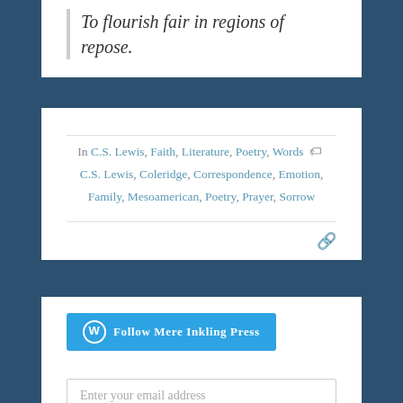To flourish fair in regions of repose.
In C.S. Lewis, Faith, Literature, Poetry, Words  C.S. Lewis, Coleridge, Correspondence, Emotion, Family, Mesoamerican, Poetry, Prayer, Sorrow
Follow Mere Inkling Press
Enter your email address
Free Email Subscriptions
Join 5,XXX other followers